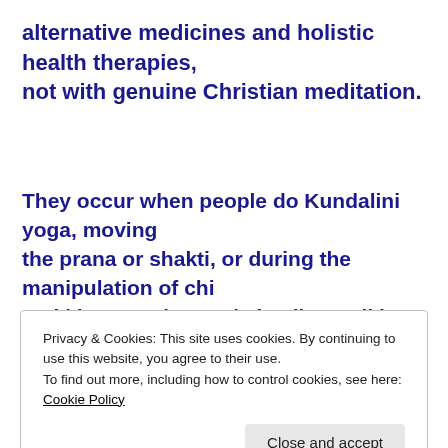alternative medicines and holistic health therapies, not with genuine Christian meditation.
They occur when people do Kundalini yoga, moving the prana or shakti, or during the manipulation of chi and ki energy in pranic healing, reiki, etc.
These phenomena are the counterfeit of genuine
Privacy & Cookies: This site uses cookies. By continuing to use this website, you agree to their use.
To find out more, including how to control cookies, see here: Cookie Policy